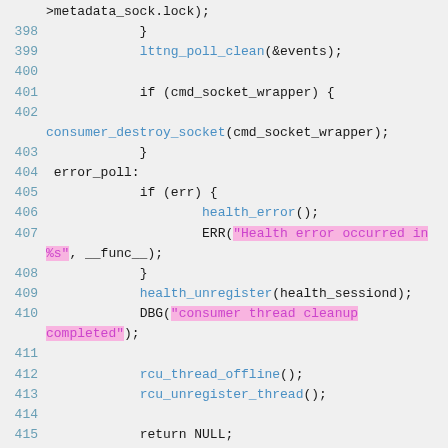Source code listing, lines 398-418, C code for consumer thread cleanup